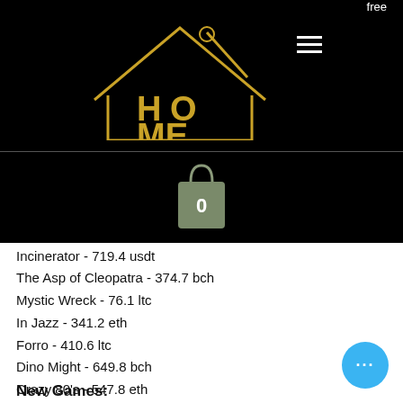[Figure (logo): HOME Catering Sushi Cuisine logo with house outline and chopstick/spoon graphic in gold on black background]
[Figure (illustration): Shopping bag icon with '0' on black background]
Incinerator - 719.4 usdt
The Asp of Cleopatra - 374.7 bch
Mystic Wreck - 76.1 ltc
In Jazz - 341.2 eth
Forro - 410.6 ltc
Dino Might - 649.8 bch
Crazy 80's - 547.8 eth
Drone Wars - 88.7 usdt
Harveys - 362.9 btc
Star Fortune - 393.7 eth
New Games: